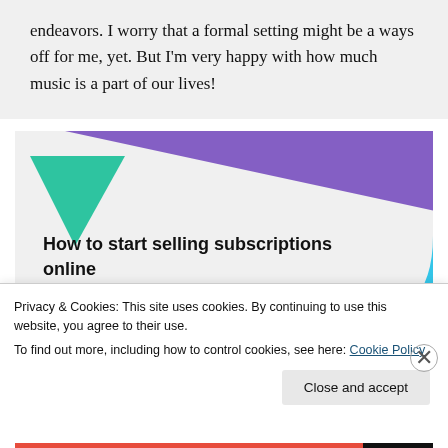endeavors. I worry that a formal setting might be a ways off for me, yet. But I'm very happy with how much music is a part of our lives!
[Figure (illustration): Promotional graphic with purple triangle top, green triangle left, blue arc bottom-right on light gray background, with bold text 'How to start selling subscriptions online']
Privacy & Cookies: This site uses cookies. By continuing to use this website, you agree to their use.
To find out more, including how to control cookies, see here: Cookie Policy